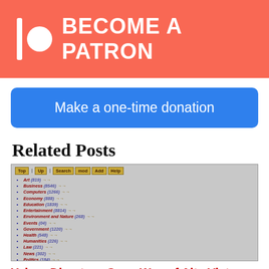[Figure (other): Patreon banner with logo (vertical bar and circle) and 'BECOME A PATRON' text on coral/red background]
[Figure (other): Blue rounded button with text 'Make a one-time donation']
Related Posts
[Figure (screenshot): Screenshot of Yahoo Directory showing categories: Art (819), Business (8546), Computers (1266), Economy (888), Education (1839), Entertainment (8814), Environment and Nature (268), Events (04), Government (1220), Health (548), Humanities (226), Law (221), News (302), Politics (184), Reference (495), Regional Information (4597), Science (3289), Social Science (113), Society and Culture (933). Footer text: There are currently 31897 entries in the Yahoo database.]
Yahoo Directory Goes Way of Alta Vista